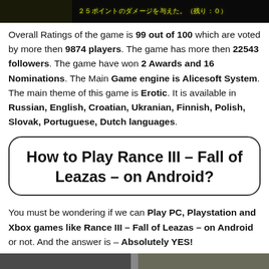[Figure (screenshot): Screenshot from a Japanese video game showing battle damage text in yellow/green on dark background: some Japanese text followed by '２５ポイントのダメージを与えた。（残り：0)']
Overall Ratings of the game is 99 out of 100 which are voted by more then 9874 players. The game has more then 22543 followers. The game have won 2 Awards and 16 Nominations. The Main Game engine is Alicesoft System. The main theme of this game is Erotic. It is available in Russian, English, Croatian, Ukranian, Finnish, Polish, Slovak, Portuguese, Dutch languages.
How to Play Rance III – Fall of Leazas – on Android?
You must be wondering if we can Play PC, Playstation and Xbox games like Rance III – Fall of Leazas – on Android or not. And the answer is – Absolutely YES!
[Figure (screenshot): Partial screenshot at bottom of page showing game imagery]